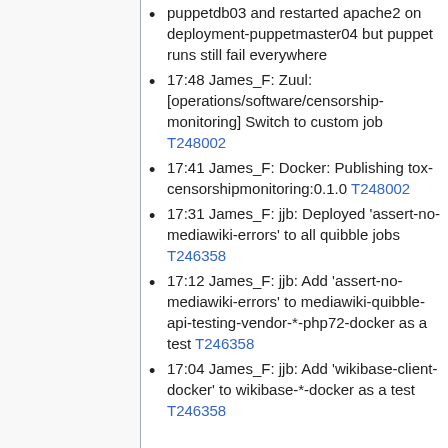puppetdb03 and restarted apache2 on deployment-puppetmaster04 but puppet runs still fail everywhere
17:48 James_F: Zuul: [operations/software/censorship-monitoring] Switch to custom job T248002
17:41 James_F: Docker: Publishing tox-censorshipmonitoring:0.1.0 T248002
17:31 James_F: jjb: Deployed 'assert-no-mediawiki-errors' to all quibble jobs T246358
17:12 James_F: jjb: Add 'assert-no-mediawiki-errors' to mediawiki-quibble-api-testing-vendor-*-php72-docker as a test T246358
17:04 James_F: jjb: Add 'wikibase-client-docker' to wikibase-*-docker as a test T246358